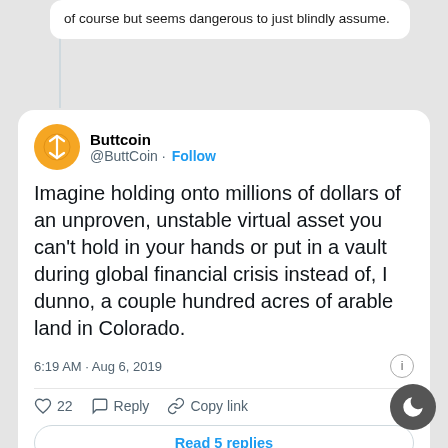of course but seems dangerous to just blindly assume.
Buttcoin @ButtCoin · Follow
Imagine holding onto millions of dollars of an unproven, unstable virtual asset you can't hold in your hands or put in a vault during global financial crisis instead of, I dunno, a couple hundred acres of arable land in Colorado.
6:19 AM · Aug 6, 2019
22  Reply  Copy link
Read 5 replies